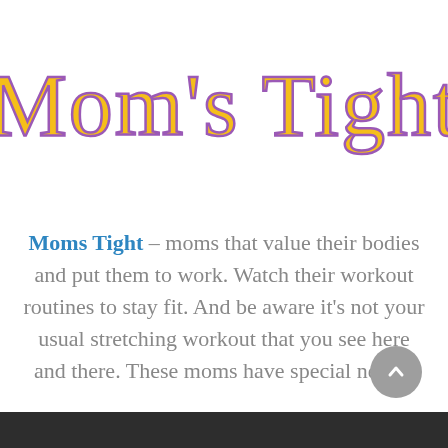Mom's Tight
Moms Tight – moms that value their bodies and put them to work. Watch their workout routines to stay fit. And be aware it's not your usual stretching workout that you see here and there. These moms have special needs!